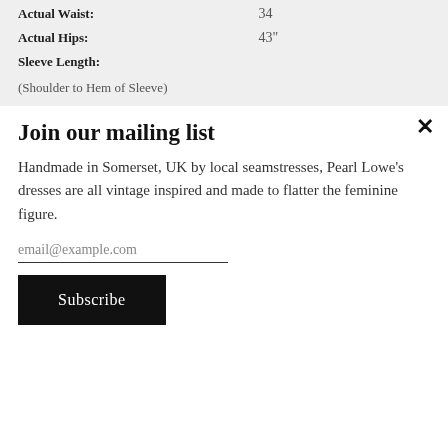| Actual Waist: | 34 |
| Actual Hips: | 43" |
| Sleeve Length: |  |
(Shoulder to Hem of Sleeve)
Join our mailing list
Handmade in Somerset, UK by local seamstresses, Pearl Lowe's dresses are all vintage inspired and made to flatter the feminine figure.
email@example.com
Subscribe